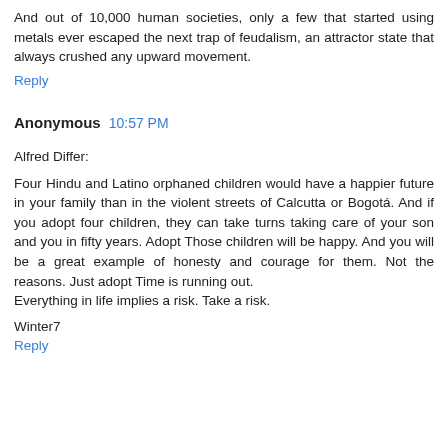And out of 10,000 human societies, only a few that started using metals ever escaped the next trap of feudalism, an attractor state that always crushed any upward movement.
Reply
Anonymous  10:57 PM
Alfred Differ:
Four Hindu and Latino orphaned children would have a happier future in your family than in the violent streets of Calcutta or Bogotá. And if you adopt four children, they can take turns taking care of your son and you in fifty years. Adopt Those children will be happy. And you will be a great example of honesty and courage for them. Not the reasons. Just adopt Time is running out.
Everything in life implies a risk. Take a risk.
Winter7
Reply